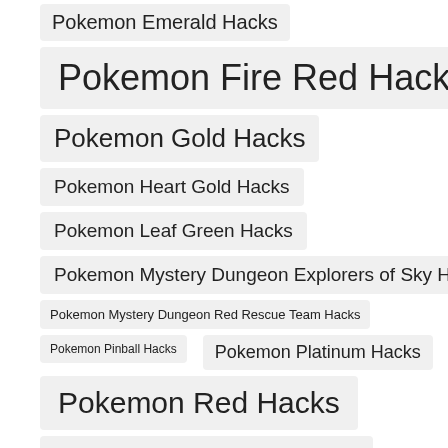Pokemon Emerald Hacks
Pokemon Fire Red Hacks
Pokemon Gold Hacks
Pokemon Heart Gold Hacks
Pokemon Leaf Green Hacks
Pokemon Mystery Dungeon Explorers of Sky Hacks
Pokemon Mystery Dungeon Red Rescue Team Hacks
Pokemon Pinball Hacks
Pokemon Platinum Hacks
Pokemon Red Hacks
Pokemon Ruby Hacks